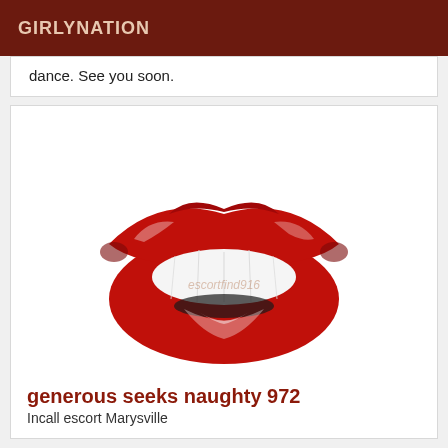GIRLYNATION
dance. See you soon.
[Figure (illustration): Stylized red lips illustration with glossy highlights and white teeth showing, with a faint watermark text 'escortfind916' overlaid in the center]
generous seeks naughty 972
Incall escort Marysville